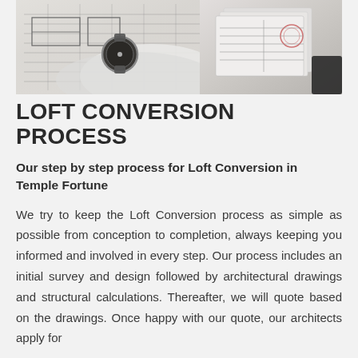[Figure (photo): Photo of a person wearing a watch reviewing architectural drawings and blueprints on a desk]
LOFT CONVERSION PROCESS
Our step by step process for Loft Conversion in Temple Fortune
We try to keep the Loft Conversion process as simple as possible from conception to completion, always keeping you informed and involved in every step. Our process includes an initial survey and design followed by architectural drawings and structural calculations. Thereafter, we will quote based on the drawings. Once happy with our quote, our architects apply for